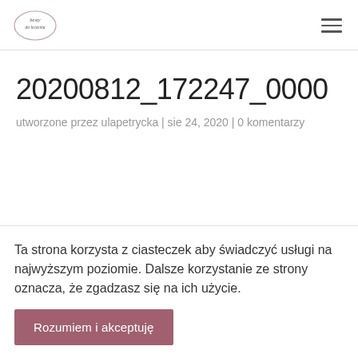[Figure (logo): Blog logo with handwritten text 'besty do leczenia' inside a cloud/blob shape outline]
20200812_172247_0000
utworzone przez ulapetrycka | sie 24, 2020 | 0 komentarzy
Ta strona korzysta z ciasteczek aby świadczyć usługi na najwyższym poziomie. Dalsze korzystanie ze strony oznacza, że zgadzasz się na ich użycie.
Rozumiem i akceptuję